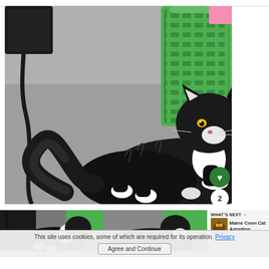[Figure (photo): A black and white long-haired cat (tuxedo pattern) lying on a grey concrete floor. White paws, white chest patch, amber eyes. A green plastic laundry basket is visible in the upper right corner. A black power cable runs along the left side. A green heart-shaped 'like' button overlay and share/count buttons are visible on the lower right of the photo.]
[Figure (photo): Thumbnail preview of the same cat photo, partially visible.]
[Figure (photo): Second thumbnail preview showing the cat and green basket, partially visible.]
WHAT'S NEXT → Maine Coon Cat Adoption
This site uses cookies, some of which are required for its operation. Privacy policy
Agree and Continue